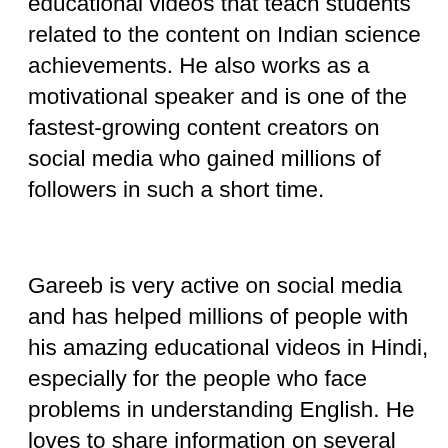educational videos that teach students related to the content on Indian science achievements. He also works as a motivational speaker and is one of the fastest-growing content creators on social media who gained millions of followers in such a short time.
Gareeb is very active on social media and has helped millions of people with his amazing educational videos in Hindi, especially for the people who face problems in understanding English. He loves to share information on several topics like scientific education, new research, the role of Scientists, New Inventions, and more. He is very talented and has gained 350k subscribers on his YouTube channel named